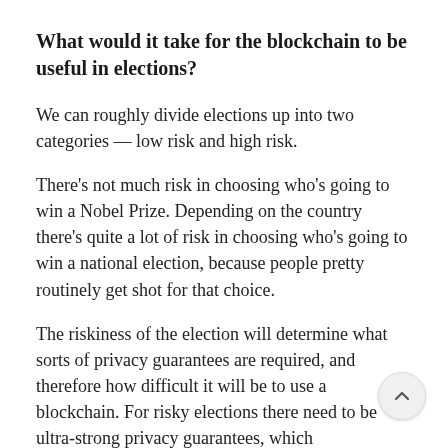What would it take for the blockchain to be useful in elections?
We can roughly divide elections up into two categories — low risk and high risk.
There's not much risk in choosing who's going to win a Nobel Prize. Depending on the country there's quite a lot of risk in choosing who's going to win a national election, because people pretty routinely get shot for that choice.
The riskiness of the election will determine what sorts of privacy guarantees are required, and therefore how difficult it will be to use a blockchain. For risky elections there need to be ultra-strong privacy guarantees, which